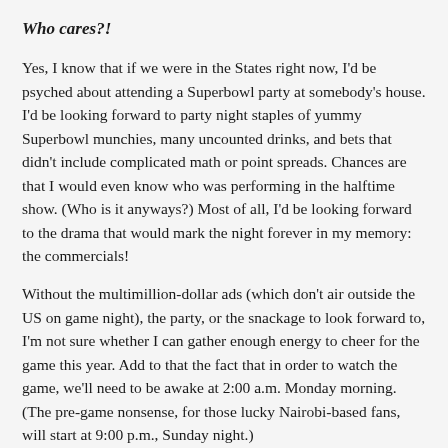Who cares?!
Yes, I know that if we were in the States right now, I'd be psyched about attending a Superbowl party at somebody's house. I'd be looking forward to party night staples of yummy Superbowl munchies, many uncounted drinks, and bets that didn't include complicated math or point spreads. Chances are that I would even know who was performing in the halftime show. (Who is it anyways?) Most of all, I'd be looking forward to the drama that would mark the night forever in my memory: the commercials!
Without the multimillion-dollar ads (which don't air outside the US on game night), the party, or the snackage to look forward to, I'm not sure whether I can gather enough energy to cheer for the game this year. Add to that the fact that in order to watch the game, we'll need to be awake at 2:00 a.m. Monday morning. (The pre-game nonsense, for those lucky Nairobi-based fans, will start at 9:00 p.m., Sunday night.)
Needless to say, I intend to wake up at a humane hour on Monday (around 9ish, thank you) and look-up the highlights, lowlights, and Monday morning quarterbacking on the Internet. You know, like a